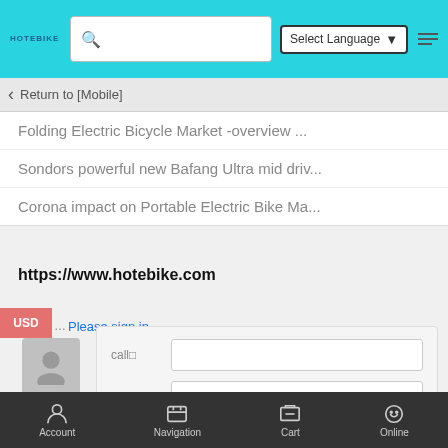HOTEBIKE — Search bar — Select Language — Menu
Return to [Mobile]
Folding Electric Bicycle Market -overview ...
Sondors powerful new Bafang Ultra mid driv...
Corona impact on Portable Electric Bike Ma...
https://www.hotebike.com
Please sign in
USD
call□  mailbox□
Account  Navigation  Cart  Online